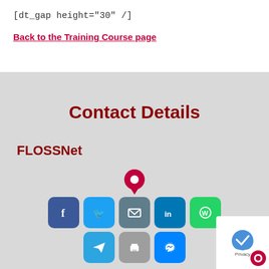[dt_gap height="30" /]
Back to the Training Course page
Contact Details
FLOSSNet
Unit 9 Desatoyu Peak, Paul Kruger Street, South Crest